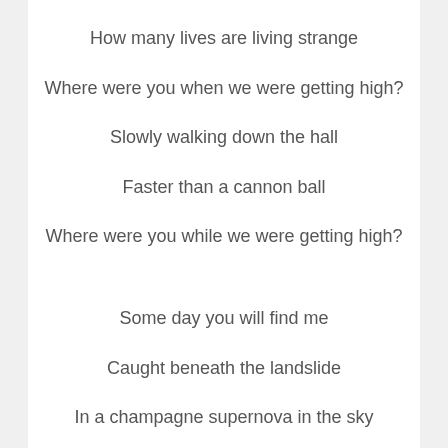How many lives are living strange
Where were you when we were getting high?
Slowly walking down the hall
Faster than a cannon ball
Where were you while we were getting high?
Some day you will find me
Caught beneath the landslide
In a champagne supernova in the sky